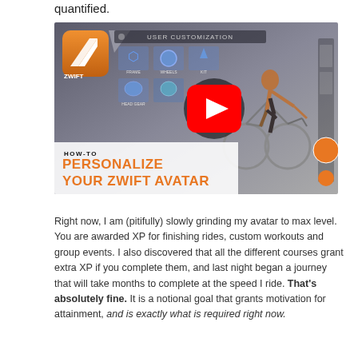quantified.
[Figure (screenshot): YouTube video thumbnail for 'How to Personalize Your Zwift Avatar' showing Zwift logo, user customization interface with frame/wheels/kit options, a cyclist riding a road bike, and a large red YouTube play button. Below the thumbnail area shows 'HOW-TO' and 'PERSONALIZE YOUR ZWIFT AVATAR' in orange bold text.]
Right now, I am (pitifully) slowly grinding my avatar to max level. You are awarded XP for finishing rides, custom workouts and group events. I also discovered that all the different courses grant extra XP if you complete them, and last night began a journey that will take months to complete at the speed I ride. That's absolutely fine. It is a notional goal that grants motivation for attainment, and is exactly what is required right now.